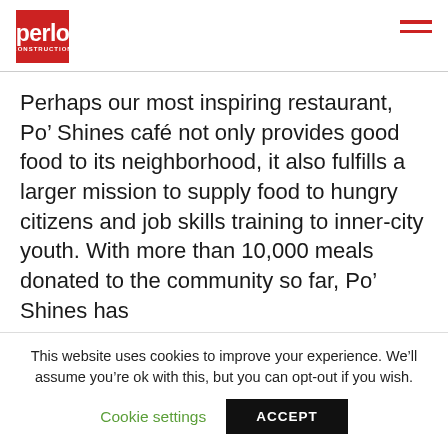perlo CONSTRUCTION
Perhaps our most inspiring restaurant, Po’ Shines café not only provides good food to its neighborhood, it also fulfills a larger mission to supply food to hungry citizens and job skills training to inner-city youth. With more than 10,000 meals donated to the community so far, Po’ Shines has
This website uses cookies to improve your experience. We’ll assume you’re ok with this, but you can opt-out if you wish.
Cookie settings   ACCEPT